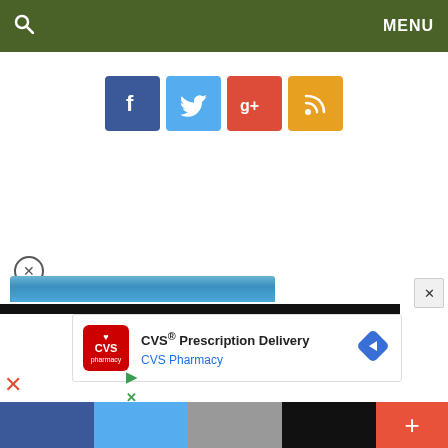🔍  MENU
[Figure (screenshot): Four social media icon buttons: Facebook (blue), Twitter (light blue), Google+ (red), RSS feed (orange)]
[Figure (screenshot): Partial advertisement overlay: CVS Prescription Delivery by CVS Pharmacy, with close buttons and a blue banner partial view]
[Figure (screenshot): Bottom toolbar with black background, red plus button on right, and faded social sharing strip]